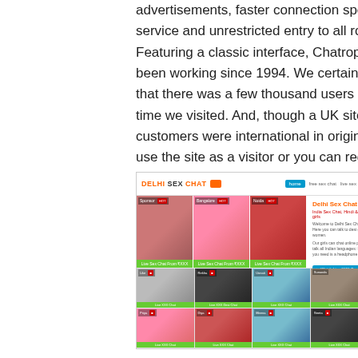advertisements, faster connection speeds to the service and unrestricted entry to all rooms. Featuring a classic interface, Chatropolis has been working since 1994. We certainly discovered that there was a few thousand users on-line every time we visited. And, though a UK site, many customers were international in origin. You can use the site as a visitor or you can register free of charge to access more features.
[Figure (screenshot): Screenshot of Delhi Sex Chat website showing a grid of profile thumbnails with a site logo in orange/black text, navigation bar, and a featured profile panel on the right side with site description text.]